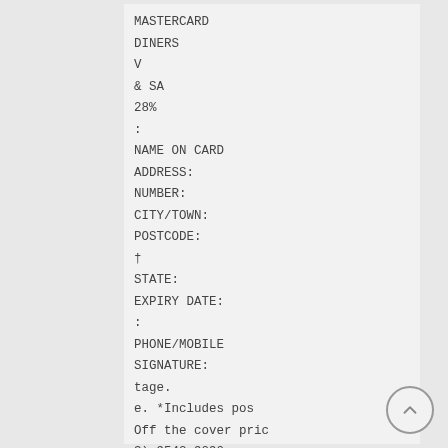MASTERCARD
DINERS
V
& SA
28%
:
NAME ON CARD
ADDRESS:
NUMBER:
CITY/TOWN:
POSTCODE:
†
STATE:
EXPIRY DATE:
:
PHONE/MOBILE
SIGNATURE:
tage.
e. *Includes pos
Off the cover pric
3) 9542 9090
VIC 3149 FAX (0
MT WAVERLEY
/